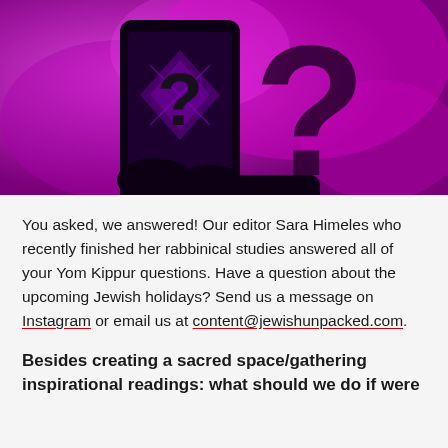[Figure (illustration): Purple/magenta background with silhouette of hands holding a smartphone displaying a question mark, and a large dark question mark on the right side.]
You asked, we answered! Our editor Sara Himeles who recently finished her rabbinical studies answered all of your Yom Kippur questions. Have a question about the upcoming Jewish holidays? Send us a message on Instagram or email us at content@jewishunpacked.com.
Besides creating a sacred space/gathering inspirational readings: what should we do if were